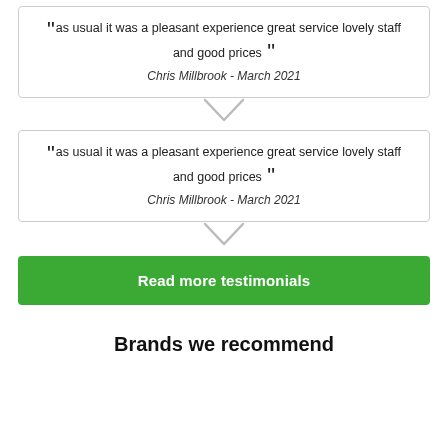“ as usual it was a pleasant experience great service lovely staff and good prices ”
Chris Millbrook - March 2021
“ as usual it was a pleasant experience great service lovely staff and good prices ”
Chris Millbrook - March 2021
Read more testimonials
Brands we recommend